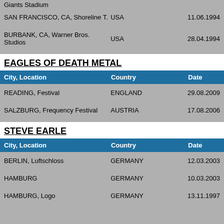Giants Stadium
| City, Location | Country | Date |
| --- | --- | --- |
| SAN FRANCISCO, CA, Shoreline T. | USA | 11.06.1994 |
| BURBANK, CA, Warner Bros. Studios | USA | 28.04.1994 |
EAGLES OF DEATH METAL
| City, Location | Country | Date |
| --- | --- | --- |
| READING, Festival | ENGLAND | 29.08.2009 |
| SALZBURG, Frequency Festival | AUSTRIA | 17.08.2006 |
STEVE EARLE
| City, Location | Country | Date |
| --- | --- | --- |
| BERLIN, Luftschloss | GERMANY | 12.03.2003 |
| HAMBURG | GERMANY | 10.03.2003 |
| HAMBURG, Logo | GERMANY | 13.11.1997 |